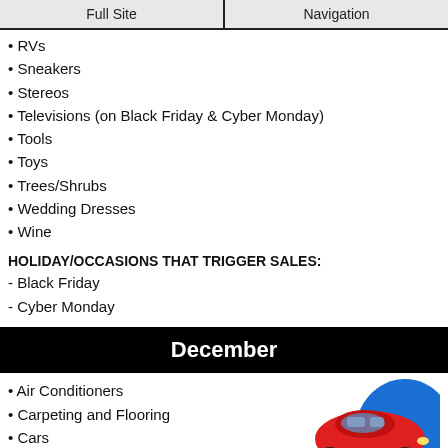Full Site | Navigation
RVs
Sneakers
Stereos
Televisions (on Black Friday & Cyber Monday)
Tools
Toys
Trees/Shrubs
Wedding Dresses
Wine
HOLIDAY/OCCASIONS THAT TRIGGER SALES:
- Black Friday
- Cyber Monday
December
Air Conditioners
Carpeting and Flooring
Cars
[Figure (photo): A red toy/model car on a colorful background (red, blue, yellow)]